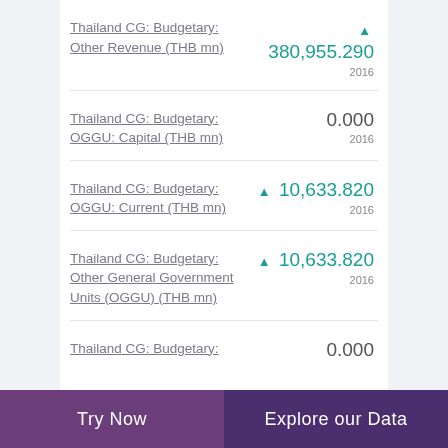Thailand CG: Budgetary: Other Revenue (THB mn)
Thailand CG: Budgetary: OGGU: Capital (THB mn)
Thailand CG: Budgetary: OGGU: Current (THB mn)
Thailand CG: Budgetary: Other General Government Units (OGGU) (THB mn)
Thailand CG: Budgetary:
Try Now | Explore our Data